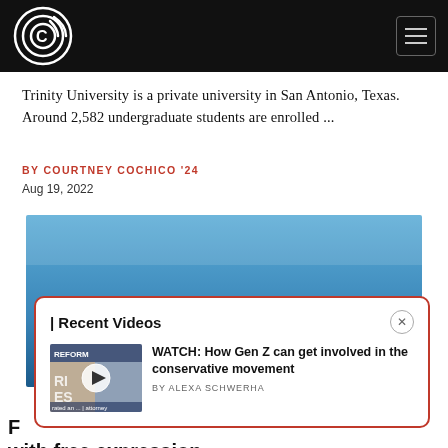Campus Reform — navigation header
Trinity University is a private university in San Antonio, Texas. Around 2,582 undergraduate students are enrolled ...
BY COURTNEY COCHICO '24
Aug 19, 2022
[Figure (photo): Blue gradient background image for article]
| Recent Videos
[Figure (screenshot): Video thumbnail showing people with a play button overlay]
WATCH: How Gen Z can get involved in the conservative movement
BY ALEXA SCHWERHA
F... with free expression